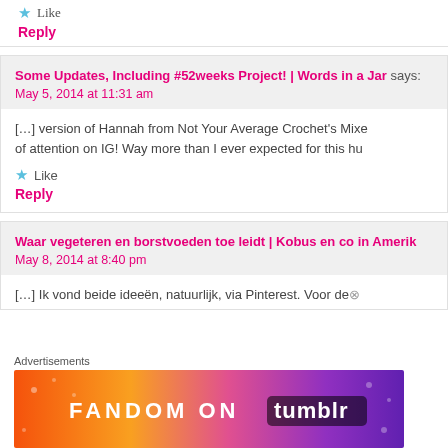★ Like
Reply
Some Updates, Including #52weeks Project! | Words in a Jar says:
May 5, 2014 at 11:31 am
[…] version of Hannah from Not Your Average Crochet's Mixe… of attention on IG! Way more than I ever expected for this hu…
★ Like
Reply
Waar vegeteren en borstvoeden toe leidt | Kobus en co in Amerika says:
May 8, 2014 at 8:40 pm
[…] Ik vond beide ideeën, natuurlijk, via Pinterest. Voor de…
Advertisements
[Figure (infographic): Fandom on Tumblr advertisement banner with colorful gradient background (orange to purple) and white text]